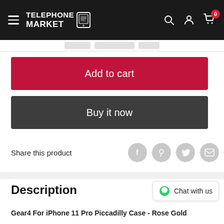Telephone Market — navigation header with hamburger menu, logo, search, account, and cart icons (0 items)
[Figure (screenshot): Navigation strip with three pill-shaped placeholder tabs]
Add to cart
Buy it now
Share this product
Description
Chat with us
Gear4 For iPhone 11 Pro Piccadilly Case - Rose Gold